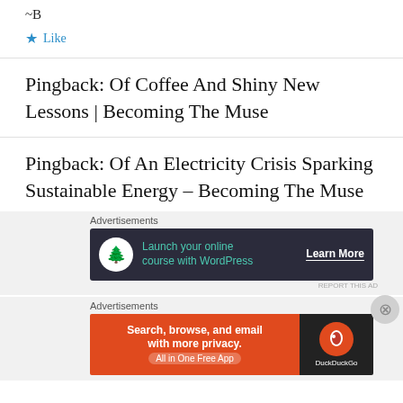~B
Like
Pingback: Of Coffee And Shiny New Lessons | Becoming The Muse
Pingback: Of An Electricity Crisis Sparking Sustainable Energy – Becoming The Muse
Advertisements
[Figure (screenshot): Advertisement banner: dark background with tree icon, text 'Launch your online course with WordPress', Learn More button]
Advertisements
[Figure (screenshot): DuckDuckGo advertisement: orange section with 'Search, browse, and email with more privacy. All in One Free App', dark section with DuckDuckGo logo]